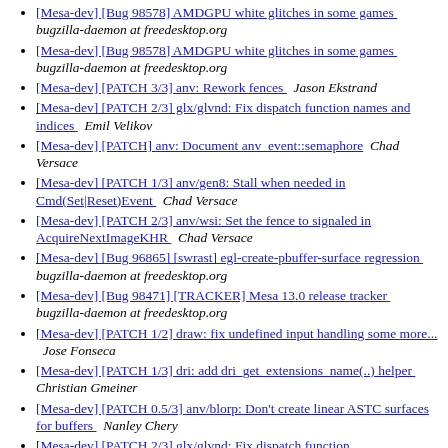[Mesa-dev] [Bug 98578] AMDGPU white glitches in some games  bugzilla-daemon at freedesktop.org
[Mesa-dev] [Bug 98578] AMDGPU white glitches in some games  bugzilla-daemon at freedesktop.org
[Mesa-dev] [PATCH 3/3] anv: Rework fences  Jason Ekstrand
[Mesa-dev] [PATCH 2/3] glx/glvnd: Fix dispatch function names and indices  Emil Velikov
[Mesa-dev] [PATCH] anv: Document anv_event::semaphore  Chad Versace
[Mesa-dev] [PATCH 1/3] anv/gen8: Stall when needed in Cmd(Set|Reset)Event  Chad Versace
[Mesa-dev] [PATCH 2/3] anv/wsi: Set the fence to signaled in AcquireNextImageKHR  Chad Versace
[Mesa-dev] [Bug 96865] [swrast] egl-create-pbuffer-surface regression  bugzilla-daemon at freedesktop.org
[Mesa-dev] [Bug 98471] [TRACKER] Mesa 13.0 release tracker  bugzilla-daemon at freedesktop.org
[Mesa-dev] [PATCH 1/2] draw: fix undefined input handling some more...  Jose Fonseca
[Mesa-dev] [PATCH 1/3] dri: add dri_get_extensions_name(..) helper  Christian Gmeiner
[Mesa-dev] [PATCH 0.5/3] anv/blorp: Don't create linear ASTC surfaces for buffers  Nanley Chery
[Mesa-dev] [PATCH 2/3] glx/glvnd: Fix dispatch function